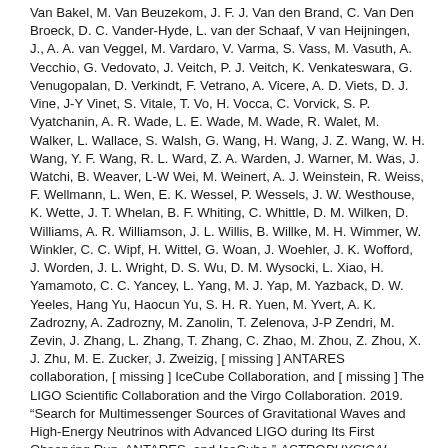Van Bakel, M. Van Beuzekom, J. F. J. Van den Brand, C. Van Den Broeck, D. C. Vander-Hyde, L. van der Schaaf, V van Heijningen, J., A. A. van Veggel, M. Vardaro, V. Varma, S. Vass, M. Vasuth, A. Vecchio, G. Vedovato, J. Veitch, P. J. Veitch, K. Venkateswara, G. Venugopalan, D. Verkindt, F. Vetrano, A. Vicere, A. D. Viets, D. J. Vine, J-Y Vinet, S. Vitale, T. Vo, H. Vocca, C. Vorvick, S. P. Vyatchanin, A. R. Wade, L. E. Wade, M. Wade, R. Walet, M. Walker, L. Wallace, S. Walsh, G. Wang, H. Wang, J. Z. Wang, W. H. Wang, Y. F. Wang, R. L. Ward, Z. A. Warden, J. Warner, M. Was, J. Watchi, B. Weaver, L-W Wei, M. Weinert, A. J. Weinstein, R. Weiss, F. Wellmann, L. Wen, E. K. Wessel, P. Wessels, J. W. Westhouse, K. Wette, J. T. Whelan, B. F. Whiting, C. Whittle, D. M. Wilken, D. Williams, A. R. Williamson, J. L. Willis, B. Willke, M. H. Wimmer, W. Winkler, C. C. Wipf, H. Wittel, G. Woan, J. Woehler, J. K. Wofford, J. Worden, J. L. Wright, D. S. Wu, D. M. Wysocki, L. Xiao, H. Yamamoto, C. C. Yancey, L. Yang, M. J. Yap, M. Yazback, D. W. Yeeles, Hang Yu, Haocun Yu, S. H. R. Yuen, M. Yvert, A. K. Zadrozny, A. Zadrozny, M. Zanolin, T. Zelenova, J-P Zendri, M. Zevin, J. Zhang, L. Zhang, T. Zhang, C. Zhao, M. Zhou, Z. Zhou, X. J. Zhu, M. E. Zucker, J. Zweizig, [ missing ] ANTARES collaboration, [ missing ] IceCube Collaboration, and [ missing ] The LIGO Scientific Collaboration and the Virgo Collaboration. 2019. "Search for Multimessenger Sources of Gravitational Waves and High-Energy Neutrinos with Advanced LIGO during Its First Observing Run, ANTARES, and IceCube." ASTROPHYSICAL JOURNAL 870 (2). doi:10.3847/1538-4357/aaf21d.